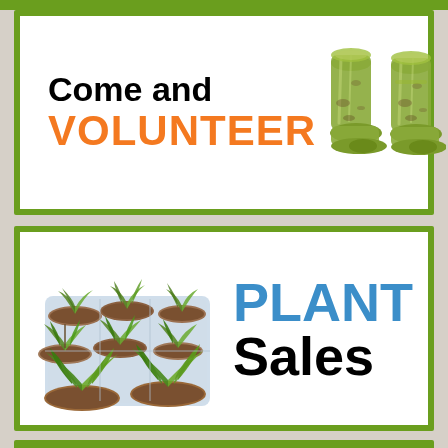[Figure (infographic): Green-bordered white card with text 'Come and VOLUNTEER' (VOLUNTEER in orange bold) and an illustration of two green gardening wellington boots on the right side.]
[Figure (infographic): Green-bordered white card with an illustration of seedling plants in pots/tray on the left, and text 'PLANT Sales' on the right (PLANT in blue bold, Sales in black bold).]